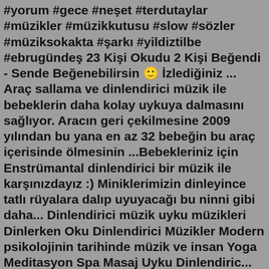#yorum #gece #neşet #terdutaylar #müzikler #müzikkutusu #slow #sözler #müziksokakta #şarkı #yildiztilbe #ebrugündeş 23 Kişi Okudu 2 Kişi Beğendi - Sende Beğenebilirsin 🙂 İzlediğiniz ... Araç sallama ve dinlendirici müzik ile bebeklerin daha kolay uykuya dalmasını sağlıyor. Aracın geri çekilmesine 2009 yılından bu yana en az 32 bebeğin bu araç içerisinde ölmesinin ...Bebekleriniz için Enstrümantal dinlendirici bir müzik ile karşınızdayız :) Miniklerimizin dinleyince tatlı rüyalara dalıp uyuyacağı bu ninni gibi daha... Dinlendirici müzik uyku müzikleri Dinlerken Oku Dinlendirici Müzikler Modern psikolojinin tarihinde müzik ve insan Yoga Meditasyon Spa Masaj Uyku Dinlendiric... Dilerseniz takı çekmecesinde takı ve özel eşyalarınızı saklayabilirsiniz. Müzik kutusunu yanındaki mandal vasıtasıyla çevirerek kurabilirsiniz. Kurduktan sonra çekmeceyi açtığınızda dinlendirici müzik çalar. Ölçüler: 13,5 cm x 11 cm x 11 cm. Paket İçeriği. 1 adet Daktilo Şeklinde Takı Çekmeceli Müzik Kutusu.Araç sallama ve dinlendirici müzik ile bebeklerin daha